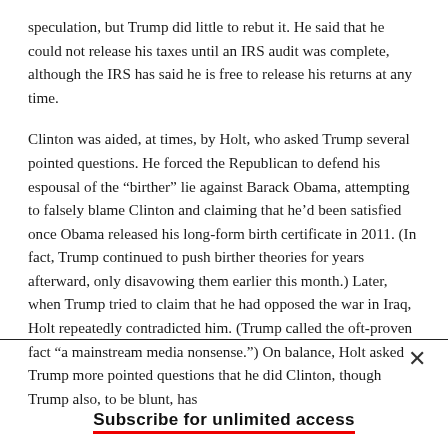speculation, but Trump did little to rebut it. He said that he could not release his taxes until an IRS audit was complete, although the IRS has said he is free to release his returns at any time.
Clinton was aided, at times, by Holt, who asked Trump several pointed questions. He forced the Republican to defend his espousal of the “birther” lie against Barack Obama, attempting to falsely blame Clinton and claiming that he’d been satisfied once Obama released his long-form birth certificate in 2011. (In fact, Trump continued to push birther theories for years afterward, only disavowing them earlier this month.) Later, when Trump tried to claim that he had opposed the war in Iraq, Holt repeatedly contradicted him. (Trump called the oft-proven fact “a mainstream media nonsense.”) On balance, Holt asked Trump more pointed questions that he did Clinton, though Trump also, to be blunt, has
Subscribe for unlimited access